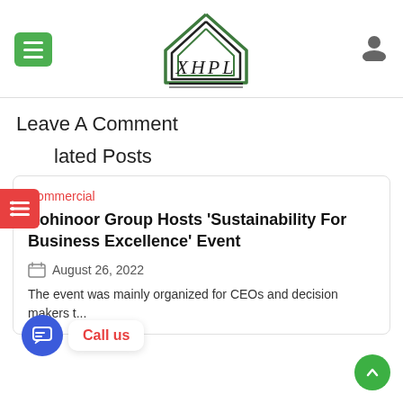[Figure (logo): XHPL logo with house/triangle shape in green and black, text XHPL below]
Leave A Comment
Related Posts
Commercial
Kohinoor Group Hosts ‘Sustainability For Business Excellence’ Event
August 26, 2022
The event was mainly organized for CEOs and decision makers t...
Call us